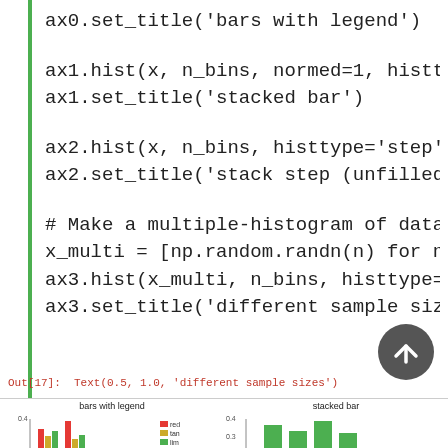ax0.set_title('bars with legend')
ax1.hist(x, n_bins, normed=1, histtype='bar', s
ax1.set_title('stacked bar')
ax2.hist(x, n_bins, histtype='step', stacked=Tru
ax2.set_title('stack step (unfilled)')
# Make a multiple-histogram of data-sets with d
x_multi = [np.random.randn(n) for n in [10000,
ax3.hist(x_multi, n_bins, histtype='bar')
ax3.set_title('different sample sizes')
Out[17]: Text(0.5, 1.0, 'different sample sizes')
[Figure (bar-chart): Partial bar chart thumbnail with legend showing red, tan, lime bars]
[Figure (bar-chart): Partial stacked bar chart thumbnail showing green bars]